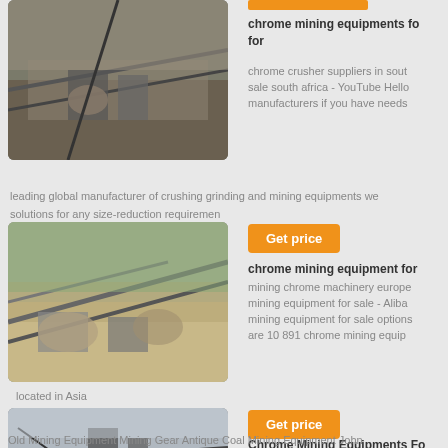[Figure (photo): Aerial view of an open-pit mining operation with conveyor belts and heavy machinery]
chrome mining equipments for for
chrome crusher suppliers in south sale south africa - YouTube Hello manufacturers if you have needs leading global manufacturer of crushing grinding and mining equipments we solutions for any size-reduction requirements
[Figure (photo): Large-scale outdoor mining facility with conveyors and rock piles]
Get price
chrome mining equipment for
mining chrome machinery europe mining equipment for sale - Aliba mining equipment for sale options are 10 891 chrome mining equip
located in Asia
[Figure (photo): Industrial mining plant with tall structures, cranes, and conveyor belts]
Get price
Chrome Mining Equipments Fo xinhai
Chrome Mining Equipments For Mining Equipment Mining Dozer Mining Tools New Gold Mining E
Old Mining Equipment Mining Gear Antique Coal Mining Equipment John